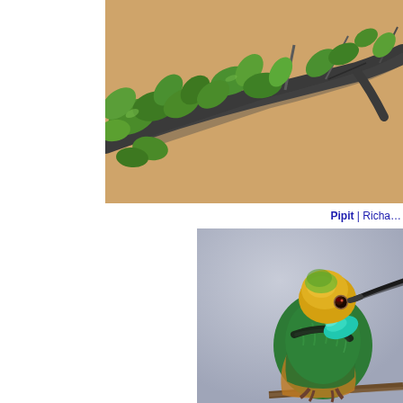[Figure (photo): Close-up photo of tree branches with green leaves against a warm beige/tan background. The branch is dark grey, curving across the frame with multiple green leaves.]
Pipit | Richa…
[Figure (photo): Close-up photo of a green bee-eater bird perched on a branch. The bird has a golden-yellow head, turquoise and green plumage on its chest and wings, a dark collar stripe, and a long dark curved beak. The background is a soft grey-blue sky.]